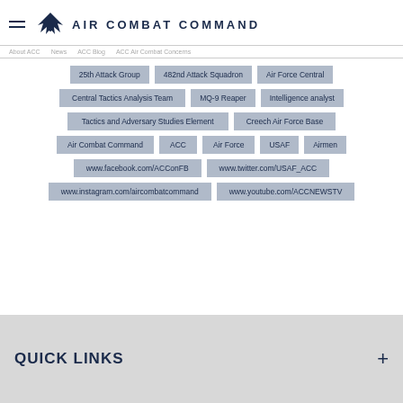AIR COMBAT COMMAND
25th Attack Group
482nd Attack Squadron
Air Force Central
Central Tactics Analysis Team
MQ-9 Reaper
Intelligence analyst
Tactics and Adversary Studies Element
Creech Air Force Base
Air Combat Command
ACC
Air Force
USAF
Airmen
www.facebook.com/ACConFB
www.twitter.com/USAF_ACC
www.instagram.com/aircombatcommand
www.youtube.com/ACCNEWSTV
QUICK LINKS